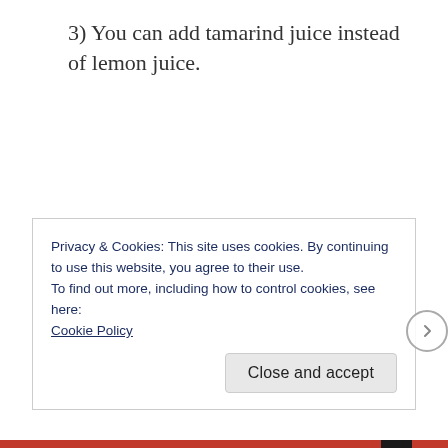3) You can add tamarind juice instead of lemon juice.
Privacy & Cookies: This site uses cookies. By continuing to use this website, you agree to their use.
To find out more, including how to control cookies, see here: Cookie Policy
Close and accept